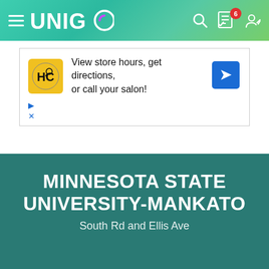UNIGO
[Figure (screenshot): Advertisement banner for a hair salon service showing HC logo, text 'View store hours, get directions, or call your salon!' and a blue navigation arrow icon]
MINNESOTA STATE UNIVERSITY-MANKATO
South Rd and Ellis Ave